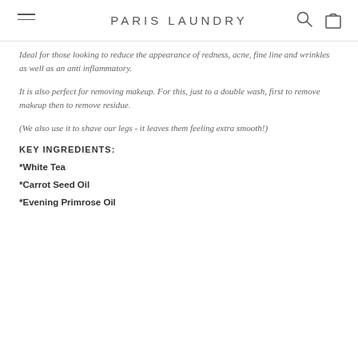PARIS LAUNDRY
Ideal for those looking to reduce the appearance of redness, acne, fine line and wrinkles as well as an anti inflammatory.
It is also perfect for removing makeup. For this, just to a double wash, first to remove makeup then to remove residue.
(We also use it to shave our legs - it leaves them feeling extra smooth!)
KEY INGREDIENTS:
*White Tea
*Carrot Seed Oil
*Evening Primrose Oil